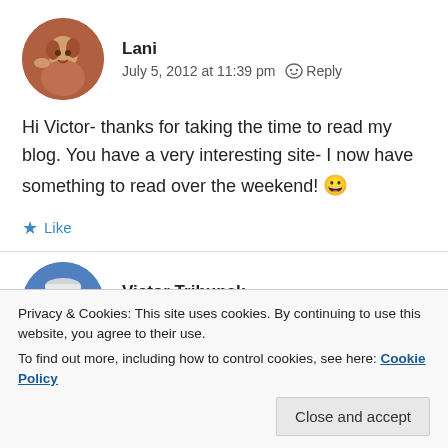[Figure (photo): Circular avatar photo of Lani, a person holding a dog, warm tones]
Lani
July 5, 2012 at 11:39 pm  Reply
Hi Victor- thanks for taking the time to read my blog. You have a very interesting site- I now have something to read over the weekend! 😀
★ Like
[Figure (photo): Circular avatar photo of a second commenter, wearing a white cap, blue tones]
Privacy & Cookies: This site uses cookies. By continuing to use this website, you agree to their use.
To find out more, including how to control cookies, see here: Cookie Policy
Close and accept
★ Like